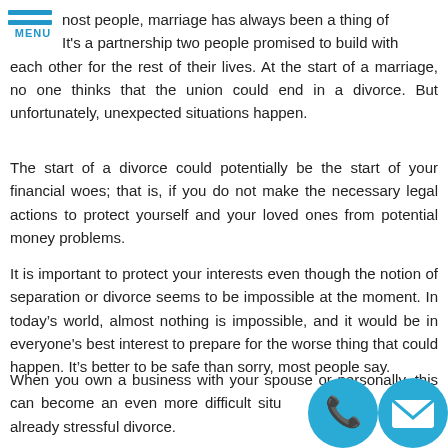[Figure (logo): Blue hamburger menu icon with two horizontal lines and MENU label in blue]
most people, marriage has always been a thing of beauty. It's a partnership two people promised to build with each other for the rest of their lives. At the start of a marriage, no one thinks that the union could end in a divorce. But unfortunately, unexpected situations happen.
The start of a divorce could potentially be the start of your financial woes; that is, if you do not make the necessary legal actions to protect yourself and your loved ones from potential money problems.
It is important to protect your interests even though the notion of separation or divorce seems to be impossible at the moment. In today's world, almost nothing is impossible, and it would be in everyone's best interest to prepare for the worse thing that could happen. It's better to be safe than sorry, most people say.
When you own a business with your spouse or personally, this can become an even more difficult situation in the face of an already stressful divorce. Whatever the
[Figure (illustration): Two circular icons at bottom right: a blue phone icon and a blue envelope/mail icon]